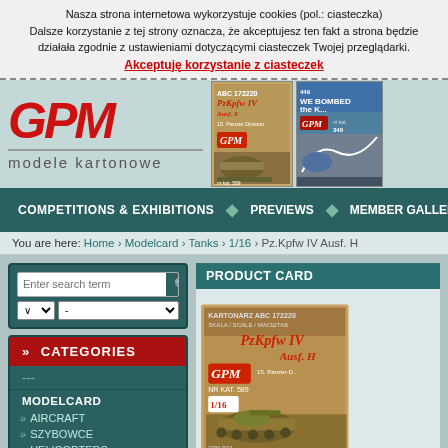Nasza strona internetowa wykorzystuje cookies (pol.: ciasteczka) Dalsze korzystanie z tej strony oznacza, że akceptujesz ten fakt a strona będzie działała zgodnie z ustawieniami dotyczącymi ciasteczek Twojej przeglądarki. Akceptuję korzystanie z ciasteczek
[Figure (logo): GPM modele kartonowe logo in red italic bold text with grey subtitle]
[Figure (photo): PzKpfw IV Ausf. H tank model card cover, first product image]
[Figure (photo): Second product model card cover partially visible]
COMPETITIONS & EXHIBITIONS • PREVIEWS • MEMBER GALLERI
You are here: Home › Modelcard › Tanks › 1/16 › Pz.Kpfw IV Ausf. H
Enter search term
» CATEGORIES
---
MODELCARD
» AIRCRAFT
» SZYBOWCE
» HELICOPTERS
» TANKS
PRODUCT CARD
[Figure (photo): PzKpfw IV Ausf. H model card product image showing GPM brand, scale 1/16, catalog number 589]